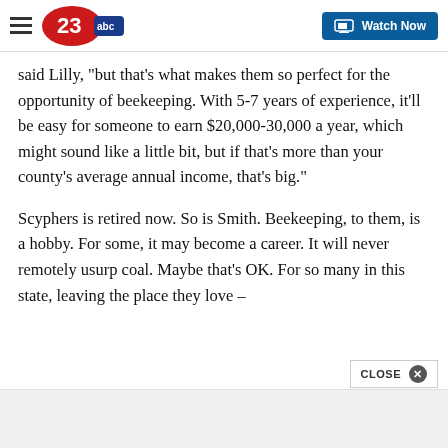23abc — Watch Now
said Lilly, "but that's what makes them so perfect for the opportunity of beekeeping. With 5-7 years of experience, it'll be easy for someone to earn $20,000-30,000 a year, which might sound like a little bit, but if that's more than your county's average annual income, that's big."
Scyphers is retired now. So is Smith. Beekeeping, to them, is a hobby. For some, it may become a career. It will never remotely usurp coal. Maybe that's OK. For so many in this state, leaving the place they love –